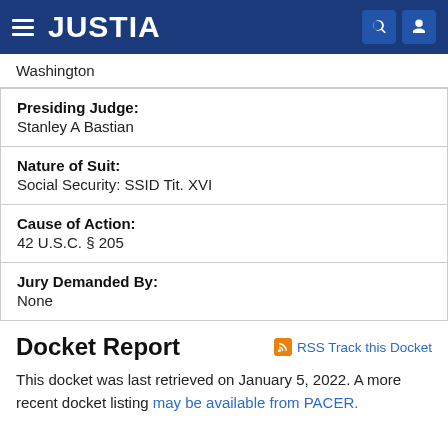JUSTIA
Washington
| Presiding Judge: | Stanley A Bastian |
| Nature of Suit: | Social Security: SSID Tit. XVI |
| Cause of Action: | 42 U.S.C. § 205 |
| Jury Demanded By: | None |
Docket Report
RSS Track this Docket
This docket was last retrieved on January 5, 2022. A more recent docket listing may be available from PACER.